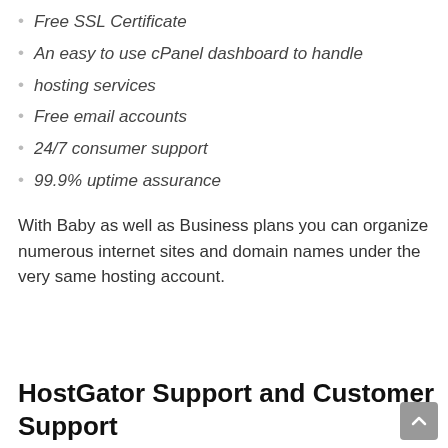Free SSL Certificate
An easy to use cPanel dashboard to handle
hosting services
Free email accounts
24/7 consumer support
99.9% uptime assurance
With Baby as well as Business plans you can organize numerous internet sites and domain names under the very same hosting account.
HostGator Support and Customer Support